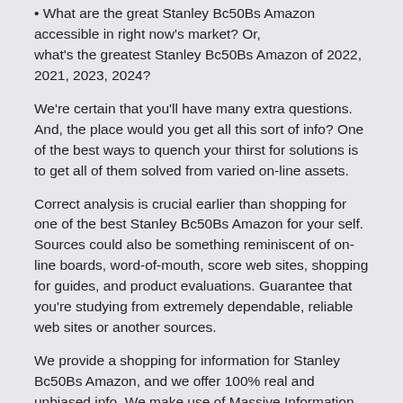What are the great Stanley Bc50Bs Amazon accessible in right now's market? Or, what's the greatest Stanley Bc50Bs Amazon of 2022, 2021, 2023, 2024?
We're certain that you'll have many extra questions. And, the place would you get all this sort of info? One of the best ways to quench your thirst for solutions is to get all of them solved from varied on-line assets.
Correct analysis is crucial earlier than shopping for one of the best Stanley Bc50Bs Amazon for your self. Sources could also be something reminiscent of on-line boards, word-of-mouth, score web sites, shopping for guides, and product evaluations. Guarantee that you're studying from extremely dependable, reliable web sites or another sources.
We provide a shopping for information for Stanley Bc50Bs Amazon, and we offer 100% real and unbiased info. We make use of Massive Information and AI knowledge to